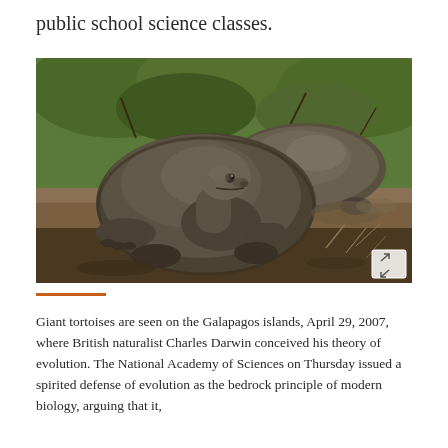public school science classes.
[Figure (photo): Two giant tortoises on the Galapagos islands, one in foreground facing the camera, one behind, surrounded by green shrubs and rocky terrain.]
Giant tortoises are seen on the Galapagos islands, April 29, 2007, where British naturalist Charles Darwin conceived his theory of evolution. The National Academy of Sciences on Thursday issued a spirited defense of evolution as the bedrock principle of modern biology, arguing that it,